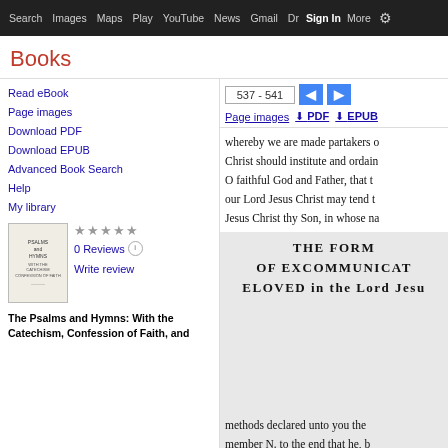Search  Images  Maps  Play  YouTube  News  Gmail  Drive  More  Sign in
Books
Read eBook
Page images
Download PDF
Download EPUB
Advanced Book Search
Help
My library
0 Reviews
Write review
The Psalms and Hymns: With the Catechism, Confession of Faith, and
537 - 541
Page images  PDF  EPUB
whereby we are made partakers o Christ should institute and ordain O faithful God and Father, that t our Lord Jesus Christ may tend t Jesus Christ thy Son, in whose na
THE FORM
OF EXCOMMUNICAT
ELOVED in the Lord Jesu
methods declared unto you the member N. to the end that he, b repentance, and so be freed fro